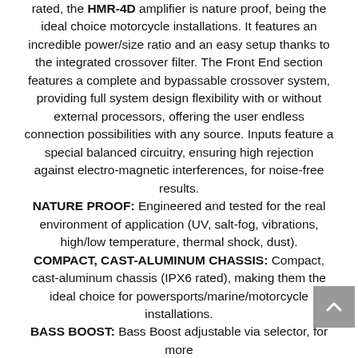rated, the HMR-4D amplifier is nature proof, being the ideal choice motorcycle installations. It features an incredible power/size ratio and an easy setup thanks to the integrated crossover filter. The Front End section features a complete and bypassable crossover system, providing full system design flexibility with or without external processors, offering the user endless connection possibilities with any source. Inputs feature a special balanced circuitry, ensuring high rejection against electro-magnetic interferences, for noise-free results.
NATURE PROOF: Engineered and tested for the real environment of application (UV, salt-fog, vibrations, high/low temperature, thermal shock, dust).
COMPACT, CAST-ALUMINUM CHASSIS: Compact, cast-aluminum chassis (IPX6 rated), making them the ideal choice for powersports/marine/motorcycle installations.
BASS BOOST: Bass Boost adjustable via selector, for more